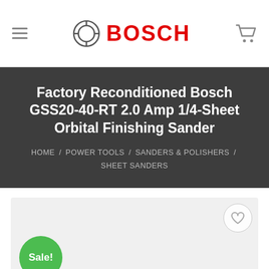[Figure (logo): Bosch logo with circular icon and red BOSCH text, hamburger menu icon on left, shopping cart icon on right]
Factory Reconditioned Bosch GSS20-40-RT 2.0 Amp 1/4-Sheet Orbital Finishing Sander
HOME / POWER TOOLS / SANDERS & POLISHERS / SHEET SANDERS
[Figure (photo): Product image area with light gray background, green Sale! badge circle in bottom left, and heart/wishlist button circle in top right]